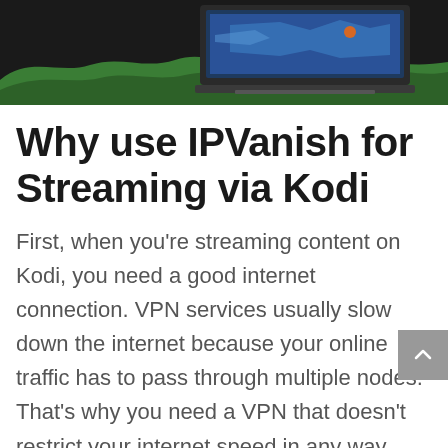[Figure (illustration): Hero banner image showing a laptop with a map/streaming interface on screen, dark background with green wave shapes, suggesting a VPN or streaming service context.]
Why use IPVanish for Streaming via Kodi
First, when you’re streaming content on Kodi, you need a good internet connection. VPN services usually slow down the internet because your online traffic has to pass through multiple nodes. That’s why you need a VPN that doesn’t restrict your internet speed in any way. IPVanish